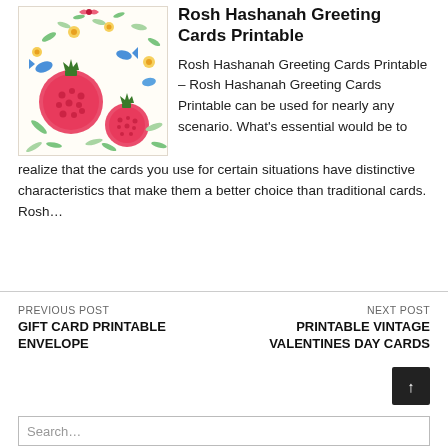[Figure (illustration): Colorful floral and pomegranate illustration for Rosh Hashanah greeting cards]
Rosh Hashanah Greeting Cards Printable
Rosh Hashanah Greeting Cards Printable – Rosh Hashanah Greeting Cards Printable can be used for nearly any scenario. What's essential would be to realize that the cards you use for certain situations have distinctive characteristics that make them a better choice than traditional cards. Rosh…
PREVIOUS POST
GIFT CARD PRINTABLE ENVELOPE
NEXT POST
PRINTABLE VINTAGE VALENTINES DAY CARDS